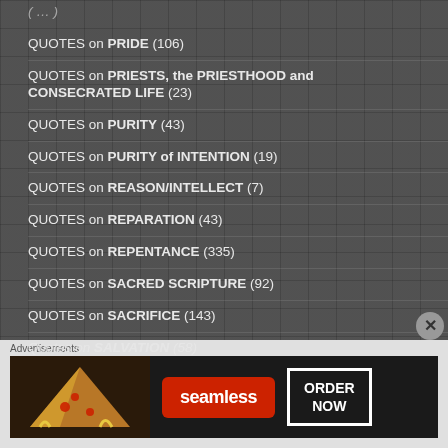QUOTES on PRIDE (106)
QUOTES on PRIESTS, the PRIESTHOOD and CONSECRATED LIFE (23)
QUOTES on PURITY (43)
QUOTES on PURITY of INTENTION (19)
QUOTES on REASON/INTELLECT (7)
QUOTES on REPARATION (43)
QUOTES on REPENTANCE (335)
QUOTES on SACRED SCRIPTURE (92)
QUOTES on SACRIFICE (143)
Quotes on SALVATION (58)
Advertisements